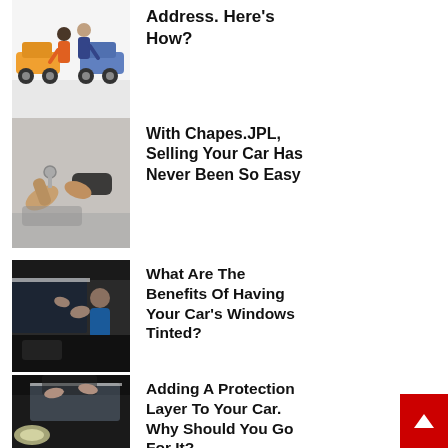Address. Here's How?
[Figure (photo): Illustration of two people exchanging car keys near orange and blue cars]
With Chapes.JPL, Selling Your Car Has Never Been So Easy
[Figure (photo): Person handing car keys to another person outdoors]
What Are The Benefits Of Having Your Car's Windows Tinted?
[Figure (photo): Person applying window tint film to a car window]
Adding A Protection Layer To Your Car. Why Should You Go For It?
[Figure (photo): Person applying protective film to a car hood]